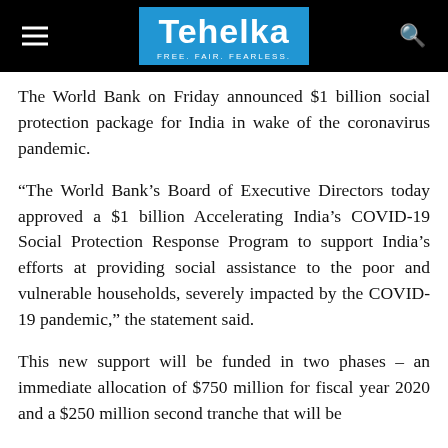Tehelka — FREE. FAIR. FEARLESS.
The World Bank on Friday announced $1 billion social protection package for India in wake of the coronavirus pandemic.
“The World Bank’s Board of Executive Directors today approved a $1 billion Accelerating India’s COVID-19 Social Protection Response Program to support India’s efforts at providing social assistance to the poor and vulnerable households, severely impacted by the COVID-19 pandemic,” the statement said.
This new support will be funded in two phases – an immediate allocation of $750 million for fiscal year 2020 and a $250 million second tranche that will be